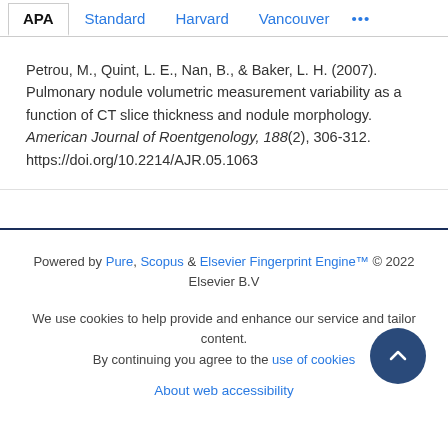APA | Standard | Harvard | Vancouver | ...
Petrou, M., Quint, L. E., Nan, B., & Baker, L. H. (2007). Pulmonary nodule volumetric measurement variability as a function of CT slice thickness and nodule morphology. American Journal of Roentgenology, 188(2), 306-312. https://doi.org/10.2214/AJR.05.1063
Powered by Pure, Scopus & Elsevier Fingerprint Engine™ © 2022 Elsevier B.V
We use cookies to help provide and enhance our service and tailor content. By continuing you agree to the use of cookies
About web accessibility